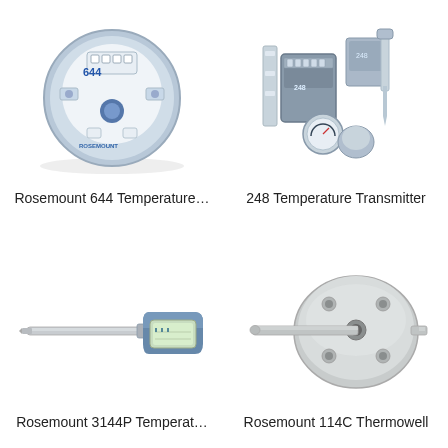[Figure (photo): Rosemount 644 Temperature Transmitter – circular blue and grey device with terminal connections visible from above]
Rosemount 644 Temperature…
[Figure (photo): 248 Temperature Transmitter – multiple grey industrial components including DIN rail mount, round gauge, and connector parts]
248 Temperature Transmitter
[Figure (photo): Rosemount 3144P Temperature Transmitter – blue-headed transmitter mounted on a long metal stem/probe]
Rosemount 3144P Temperat…
[Figure (photo): Rosemount 114C Thermowell – stainless steel flanged thermowell with protruding stem]
Rosemount 114C Thermowell